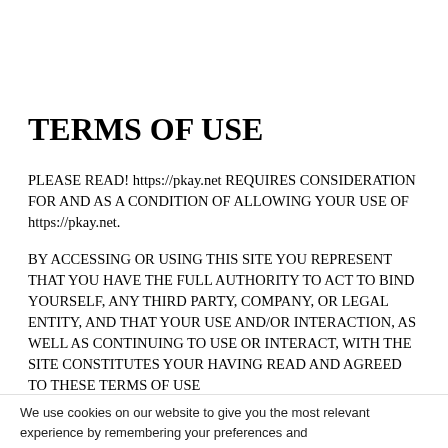TERMS OF USE
PLEASE READ! https://pkay.net REQUIRES CONSIDERATION FOR AND AS A CONDITION OF ALLOWING YOUR USE OF https://pkay.net.
BY ACCESSING OR USING THIS SITE YOU REPRESENT THAT YOU HAVE THE FULL AUTHORITY TO ACT TO BIND YOURSELF, ANY THIRD PARTY, COMPANY, OR LEGAL ENTITY, AND THAT YOUR USE AND/OR INTERACTION, AS WELL AS CONTINUING TO USE OR INTERACT, WITH THE SITE CONSTITUTES YOUR HAVING READ AND AGREED TO THESE TERMS OF USE
We use cookies on our website to give you the most relevant experience by remembering your preferences and